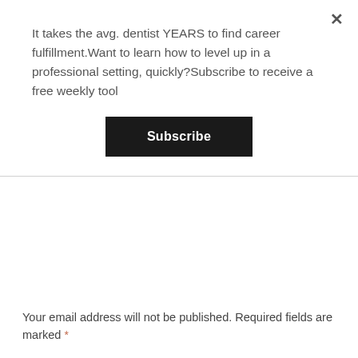It takes the avg. dentist YEARS to find career fulfillment.Want to learn how to level up in a professional setting, quickly?Subscribe to receive a free weekly tool
Subscribe
Your email address will not be published. Required fields are marked *
COMMENT *